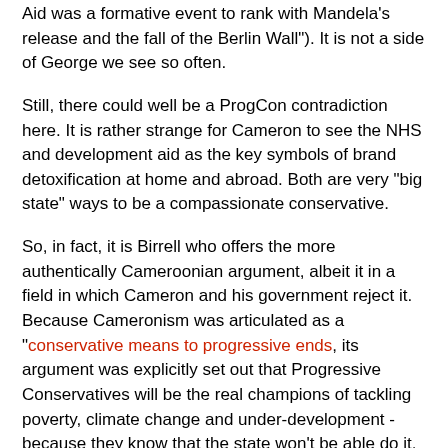Aid was a formative event to rank with Mandela's release and the fall of the Berlin Wall"). It is not a side of George we see so often.
Still, there could well be a ProgCon contradiction here. It is rather strange for Cameron to see the NHS and development aid as the key symbols of brand detoxification at home and abroad. Both are very "big state" ways to be a compassionate conservative.
So, in fact, it is Birrell who offers the more authentically Cameroonian argument, albeit it in a field in which Cameron and his government reject it. Because Cameronism was articulated as a "conservative means to progressive ends, its argument was explicitly set out that Progressive Conservatives will be the real champions of tackling poverty, climate change and under-development - because they know that the state won't be able do it. In the past, the state could make progress on these fronts. In the future, it will do more harm than good, as Cameron argued in The Independent in 2008 in one of his clearest statements of his ProgCon theory.